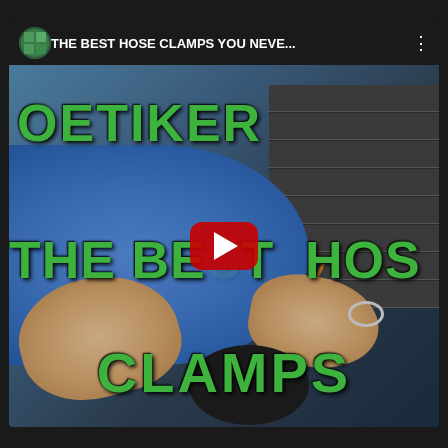[Figure (screenshot): YouTube video thumbnail/player screenshot showing a video titled 'THE BEST HOSE CLAMPS YOU NEVE...' with green text overlays reading 'OETIKER', 'THE BEST HOS' and 'CLAMPS' over a workshop scene with a person in a blue shirt holding hose clamps. A red YouTube play button is centered on the video.]